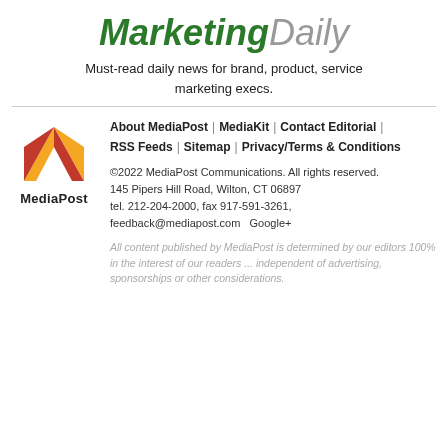MarketingDaily
Must-read daily news for brand, product, service marketing execs.
[Figure (logo): MediaPost logo — stylized red and orange M on white background with 'MediaPost' text below]
About MediaPost | MediaKit | Contact Editorial | RSS Feeds | Sitemap | Privacy/Terms & Conditions
©2022 MediaPost Communications. All rights reserved. 145 Pipers Hill Road, Wilton, CT 06897 tel. 212-204-2000, fax 917-591-3261, feedback@mediapost.com   Google+
All content published by MediaPost is determined by our editors 100% in the interest of our readers ... independent of advertising, sponsorships or other considerations.